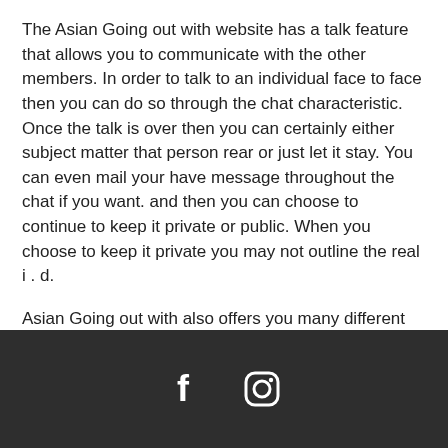The Asian Going out with website has a talk feature that allows you to communicate with the other members. In order to talk to an individual face to face then you can do so through the chat characteristic. Once the talk is over then you can certainly either subject matter that person rear or just let it stay. You can even mail your have message throughout the chat if you want. and then you can choose to continue to keep it private or public. When you choose to keep it private you may not outline the real i . d.
Asian Going out with also offers you many different techniques for you to become a member and the number of ways is unlimited. You can possibly pay a monthly fee or a one time price to become a member.
[Figure (other): Dark footer bar with Facebook and Instagram social media icons in white]